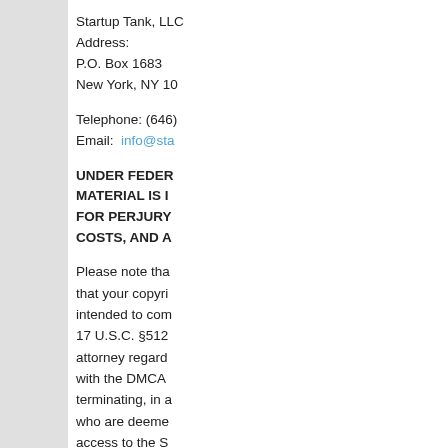Startup Tank, LLC
Address:
P.O. Box 1683
New York, NY 10...
Telephone: (646)...
Email: info@sta...
UNDER FEDER... MATERIAL IS I... FOR PERJURY... COSTS, AND A...
Please note tha... that your copyri... intended to com... 17 U.S.C. §512... attorney regard... with the DMCA... terminating, in a... who are deeme... access to the S... intellectual prop...